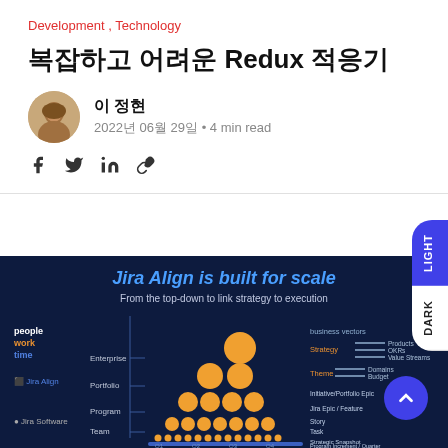Development , Technology
복잡하고 어려운 Redux 적응기
이 정현
2022년 06월 29일 • 4 min read
[Figure (infographic): Jira Align is built for scale - organizational hierarchy diagram with orange circles showing Enterprise, Portfolio, Program, Team levels and business vectors legend]
From the top-down to link strategy to execution